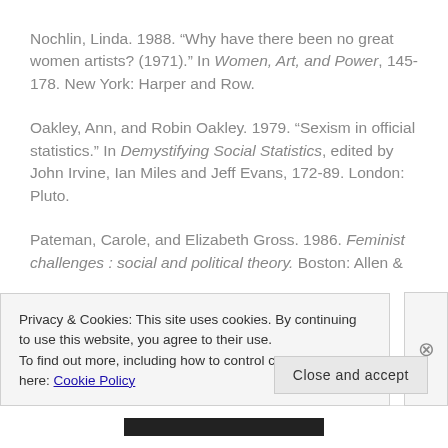Nochlin, Linda. 1988. “Why have there been no great women artists? (1971).” In Women, Art, and Power, 145-178. New York: Harper and Row.
Oakley, Ann, and Robin Oakley. 1979. “Sexism in official statistics.” In Demystifying Social Statistics, edited by John Irvine, Ian Miles and Jeff Evans, 172-89. London: Pluto.
Pateman, Carole, and Elizabeth Gross. 1986. Feminist challenges : social and political theory. Boston: Allen &
Privacy & Cookies: This site uses cookies. By continuing to use this website, you agree to their use.
To find out more, including how to control cookies, see here: Cookie Policy